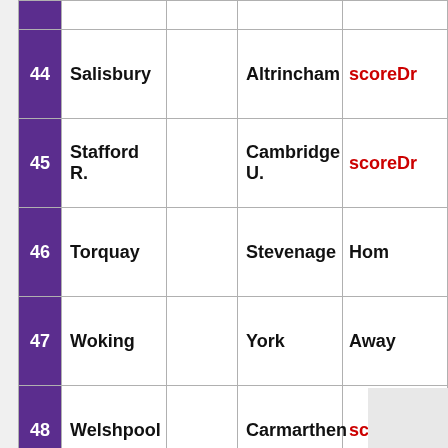| # | Home |  | Away | Result |
| --- | --- | --- | --- | --- |
| 44 | Salisbury |  | Altrincham | scoreDr... |
| 45 | Stafford R. |  | Cambridge U. | scoreDr... |
| 46 | Torquay |  | Stevenage | Hom... |
| 47 | Woking |  | York | Away... |
| 48 | Welshpool |  | Carmarthen | scoreDr... |
| 49 | The New Saints |  | Rhyl | Hom... |